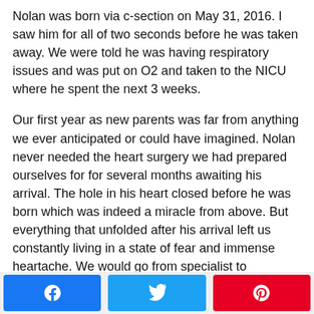Nolan was born via c-section on May 31, 2016. I saw him for all of two seconds before he was taken away. We were told he was having respiratory issues and was put on O2 and taken to the NICU where he spent the next 3 weeks.
Our first year as new parents was far from anything we ever anticipated or could have imagined. Nolan never needed the heart surgery we had prepared ourselves for for several months awaiting his arrival. The hole in his heart closed before he was born which was indeed a miracle from above. But everything that unfolded after his arrival left us constantly living in a state of fear and immense heartache. We would go from specialist to specialist, week after week, tackling questions and having